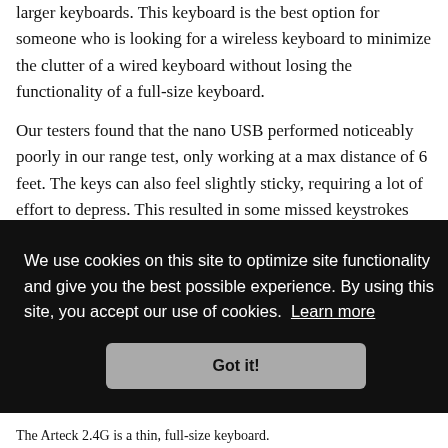larger keyboards. This keyboard is the best option for someone who is looking for a wireless keyboard to minimize the clutter of a wired keyboard without losing the functionality of a full-size keyboard.
Our testers found that the nano USB performed noticeably poorly in our range test, only working at a max distance of 6 feet. The keys can also feel slightly sticky, requiring a lot of effort to depress. This resulted in some missed keystrokes but improved as we got used to the particular typing action.
…addition …rteck …ong as
We use cookies on this site to optimize site functionality and give you the best possible experience. By using this site, you accept our use of cookies. Learn more
The Arteck 2.4G is a thin, full-size keyboard.